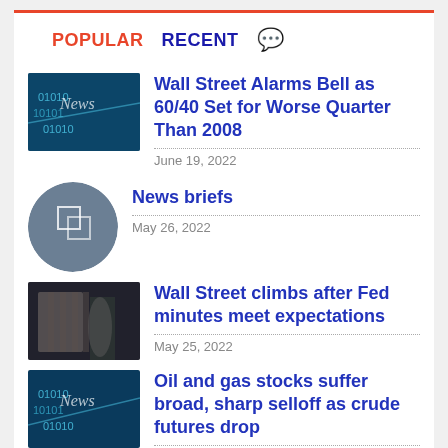POPULAR   RECENT
Wall Street Alarms Bell as 60/40 Set for Worse Quarter Than 2008
June 19, 2022
News briefs
May 26, 2022
Wall Street climbs after Fed minutes meet expectations
May 25, 2022
Oil and gas stocks suffer broad, sharp selloff as crude futures drop
June 22, 2022
Tech and crypto firms experienced